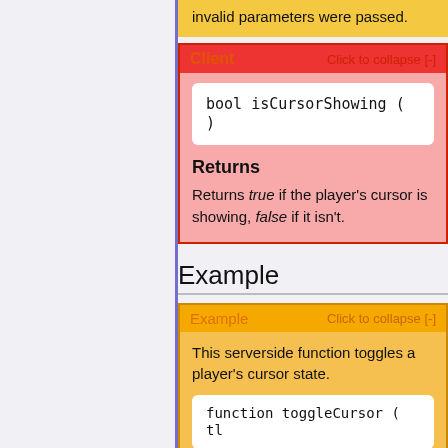invalid parameters were passed.
Client
bool isCursorShowing ( )
Returns
Returns true if the player's cursor is showing, false if it isn't.
Example
Example    Click to collapse [-]
This serverside function toggles a player's cursor state.
function toggleCursor ( tl